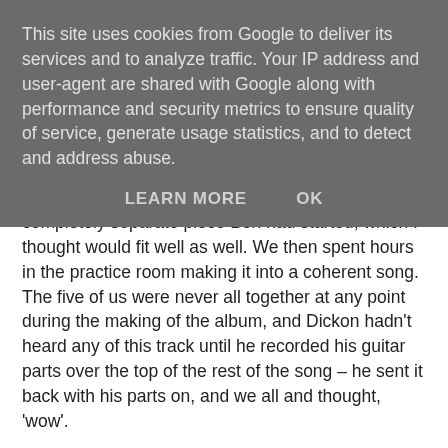This site uses cookies from Google to deliver its services and to analyze traffic. Your IP address and user-agent are shared with Google along with performance and security metrics to ensure quality of service, generate usage statistics, and to detect and address abuse.
LEARN MORE   OK
completely separate piece Ben had started, which I thought would fit well as well. We then spent hours in the practice room making it into a coherent song. The five of us were never all together at any point during the making of the album, and Dickon hadn't heard any of this track until he recorded his guitar parts over the top of the rest of the song – he sent it back with his parts on, and we all and thought, 'wow'.
A song comprising of four pieces all stuck together, discussing organised religion, with different time signatures and no conventional chorus – perfect to use as the album's promo track, at Easter as well! (or commercial suicide... ha)